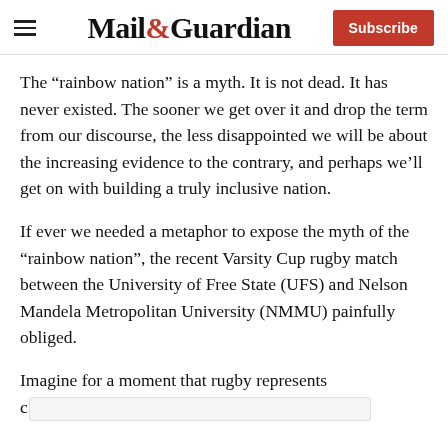Mail&Guardian | Subscribe
The “rainbow nation” is a myth. It is not dead. It has never existed. The sooner we get over it and drop the term from our discourse, the less disappointed we will be about the increasing evidence to the contrary, and perhaps we’ll get on with building a truly inclusive nation.
If ever we needed a metaphor to expose the myth of the “rainbow nation”, the recent Varsity Cup rugby match between the University of Free State (UFS) and Nelson Mandela Metropolitan University (NMMU) painfully obliged.
Imagine for a moment that rugby represents c…